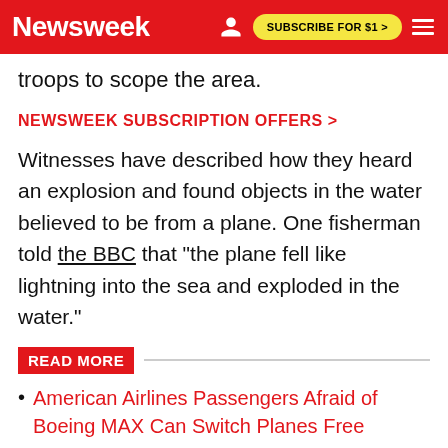Newsweek | SUBSCRIBE FOR $1 >
troops to scope the area.
NEWSWEEK SUBSCRIPTION OFFERS >
Witnesses have described how they heard an explosion and found objects in the water believed to be from a plane. One fisherman told the BBC that "the plane fell like lightning into the sea and exploded in the water."
READ MORE
American Airlines Passengers Afraid of Boeing MAX Can Switch Planes Free